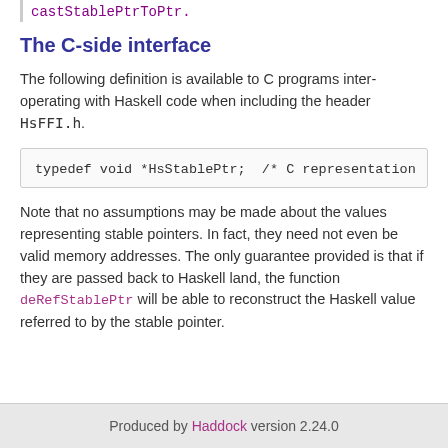castStablePtrToPtr.
The C-side interface
The following definition is available to C programs inter-operating with Haskell code when including the header HsFFI.h.
typedef void *HsStablePtr;  /* C representation
Note that no assumptions may be made about the values representing stable pointers. In fact, they need not even be valid memory addresses. The only guarantee provided is that if they are passed back to Haskell land, the function deRefStablePtr will be able to reconstruct the Haskell value referred to by the stable pointer.
Produced by Haddock version 2.24.0